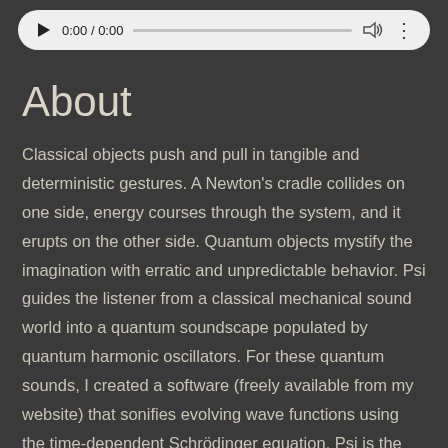[Figure (other): Audio player widget with play button, time display showing 0:00 / 0:00, progress bar, volume icon, and options (three dots) button]
About
Classical objects push and pull in tangible and deterministic gestures. A Newton's cradle collides on one side, energy courses through the system, and it erupts on the other side. Quantum objects mystify the imagination with erratic and unpredictable behavior. Psi guides the listener from a classical mechanical sound world into a quantum soundscape populated by quantum harmonic oscillators. For these quantum sounds, I created a software (freely available from my website) that sonifies evolving wave functions using the time-dependent Schrödinger equation. Psi is the culmination of years of compositional work and research into the